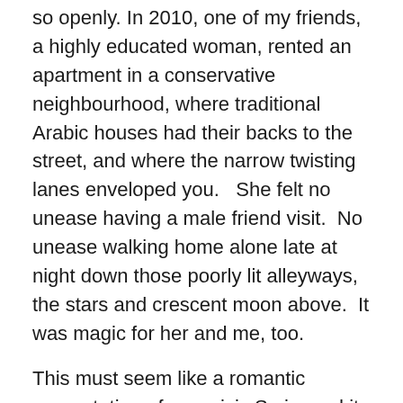so openly. In 2010, one of my friends, a highly educated woman, rented an apartment in a conservative neighbourhood, where traditional Arabic houses had their backs to the street, and where the narrow twisting lanes enveloped you.   She felt no unease having a male friend visit.  No unease walking home alone late at night down those poorly lit alleyways, the stars and crescent moon above.  It was magic for her and me, too.
This must seem like a romantic presentation of pre-crisis Syria, and it is and it isn't.  It is an impression which is shared by many Syrians I speak to. You can see it in the eyes of Syrians, people who aren't shy to display their warm hearts to strangers.  But without a doubt, today, that delight and freedom women felt walking alone around Damascus has been replaced by fear and dread, death and abduction.